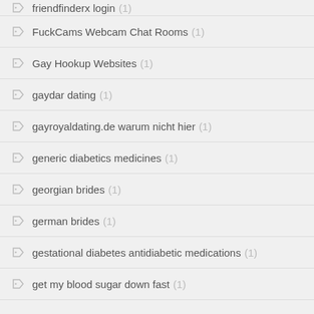friendfinderx login (1)
FuckCams Webcam Chat Rooms (1)
Gay Hookup Websites (1)
gaydar dating (1)
gayroyaldating.de warum nicht hier (1)
generic diabetics medicines (1)
georgian brides (1)
german brides (1)
gestational diabetes antidiabetic medications (1)
get my blood sugar down fast (1)